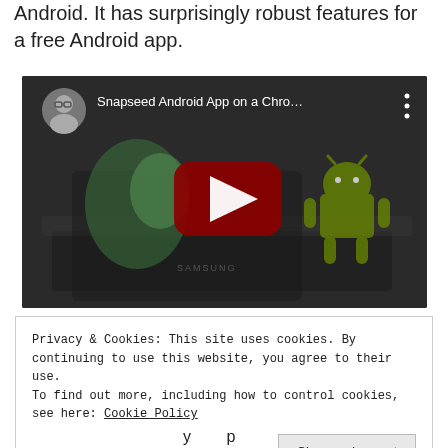Android. It has surprisingly robust features for a free Android app.
[Figure (screenshot): YouTube video thumbnail showing 'Snapseed Android App on a Chro...' with a play button, channel avatar (man with glasses), Android mascot, and a Samsung Chromebook in the background.]
Privacy & Cookies: This site uses cookies. By continuing to use this website, you agree to their use.
To find out more, including how to control cookies, see here: Cookie Policy
Close and accept
...y p